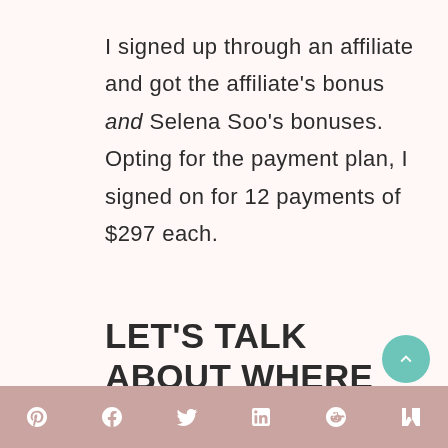I signed up through an affiliate and got the affiliate's bonus and Selena Soo's bonuses. Opting for the payment plan, I signed on for 12 payments of $297 each.
LET'S TALK ABOUT WHERE I WAS BEFORE IMPACTING MILLIONS
social share icons: Pinterest, Facebook, Twitter, LinkedIn, Reddit, Mix